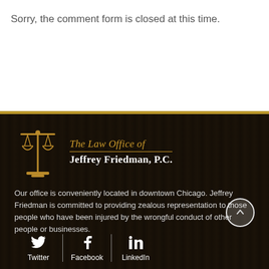Sorry, the comment form is closed at this time.
[Figure (logo): Scales of justice logo for The Law Office of Jeffrey Friedman, P.C. with gold scales icon and text]
Our office is conveniently located in downtown Chicago. Jeffrey Friedman is committed to providing zealous representation to those people who have been injured by the wrongful conduct of other people or businesses.
Twitter | Facebook | LinkedIn